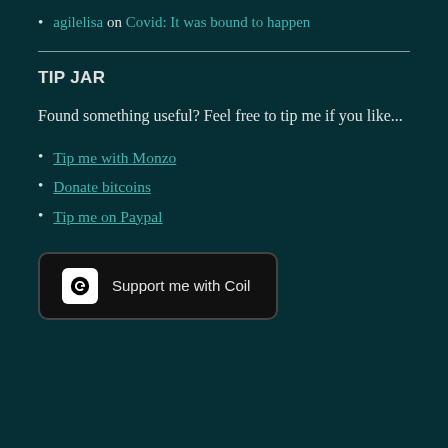agilelisa on Covid: It was bound to happen
TIP JAR
Found something useful? Feel free to tip me if you like...
Tip me with Monzo
Donate bitcoins
Tip me on Paypal
[Figure (other): Support me with Coil button with Coil logo icon]